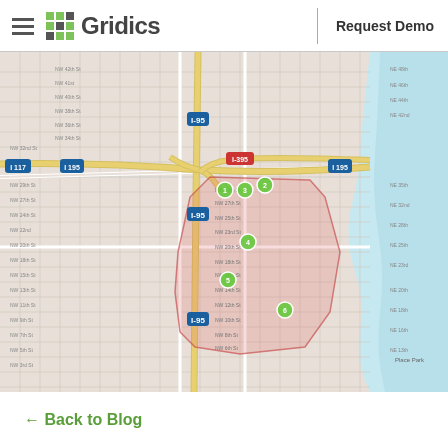Gridics — Request Demo
[Figure (map): Street map of a Miami neighborhood with a pink-shaded polygon overlay indicating a zoning or study area, with green circle markers indicating specific locations, yellow highway routes (I-95, I-195, I-395), and blue water body (Biscayne Bay) to the east.]
← Back to Blog